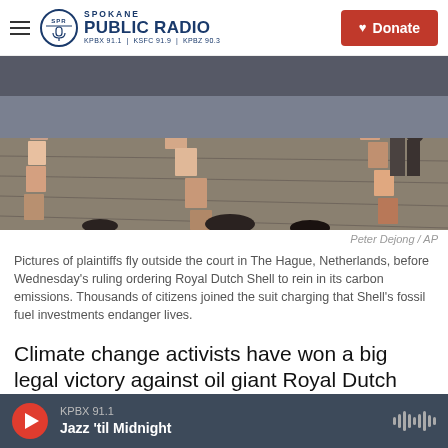Spokane Public Radio — KPBX 91.1 | KSFC 91.9 | KPBZ 90.3 | Donate
[Figure (photo): Aerial view of photos of plaintiffs displayed in rows on the ground outside the court in The Hague, Netherlands, before the Wednesday ruling against Royal Dutch Shell.]
Peter Dejong / AP
Pictures of plaintiffs fly outside the court in The Hague, Netherlands, before Wednesday's ruling ordering Royal Dutch Shell to rein in its carbon emissions. Thousands of citizens joined the suit charging that Shell's fossil fuel investments endanger lives.
Climate change activists have won a big legal victory against oil giant Royal Dutch Shell. A Dutch court ruled Wednesday that the company must
KPBX 91.1 — Jazz 'til Midnight